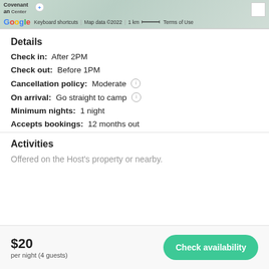[Figure (screenshot): Google Maps screenshot showing a map with 'Covenant an Center' label, Google logo, keyboard shortcuts, map data copyright 2022, 1 km scale bar, and Terms of Use link]
Details
Check in: After 2PM
Check out: Before 1PM
Cancellation policy: Moderate
On arrival: Go straight to camp
Minimum nights: 1 night
Accepts bookings: 12 months out
Activities
Offered on the Host's property or nearby.
$20 per night (4 guests)
Check availability